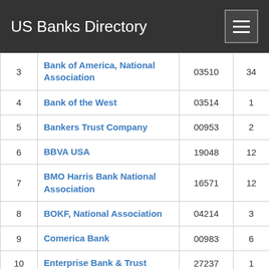US Banks Directory
| # | Name | Code | Count |
| --- | --- | --- | --- |
| 3 | Bank of America, National Association | 03510 | 34 |
| 4 | Bank of the West | 03514 | 1 |
| 5 | Bankers Trust Company | 00953 | 2 |
| 6 | BBVA USA | 19048 | 12 |
| 7 | BMO Harris Bank National Association | 16571 | 12 |
| 8 | BOKF, National Association | 04214 | 3 |
| 9 | Comerica Bank | 00983 | 6 |
| 10 | Enterprise Bank & Trust | 27237 | 1 |
| 11 | First Fidelity Bank | 23473 | 2 |
| 12 | First International Bank & Trust | 10040 | 1 |